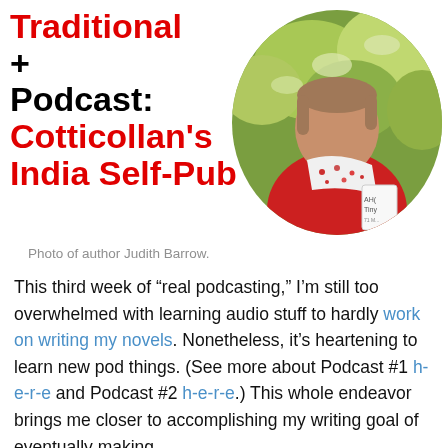Traditional + Podcast: Cotticollan's India Self-Pub
[Figure (photo): Circular cropped photo of author Judith Barrow, wearing a red top and floral scarf, holding a book, with green foliage in the background.]
Photo of author Judith Barrow.
This third week of “real podcasting,” I’m still too overwhelmed with learning audio stuff to hardly work on writing my novels. Nonetheless, it’s heartening to learn new pod things. (See more about Podcast #1 h-e-r-e and Podcast #2 h-e-r-e.) This whole endeavor brings me closer to accomplishing my writing goal of eventually making